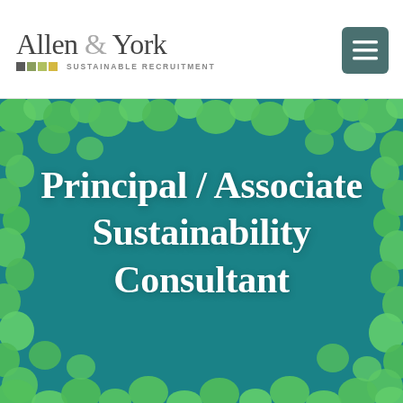Allen & York SUSTAINABLE RECRUITMENT
[Figure (photo): Aerial view of bright green tree canopies over teal/blue-green water, creating a nature-from-above pattern]
Principal / Associate Sustainability Consultant